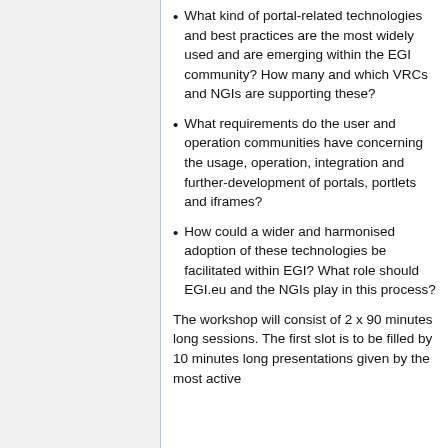What kind of portal-related technologies and best practices are the most widely used and are emerging within the EGI community? How many and which VRCs and NGIs are supporting these?
What requirements do the user and operation communities have concerning the usage, operation, integration and further-development of portals, portlets and iframes?
How could a wider and harmonised adoption of these technologies be facilitated within EGI? What role should EGI.eu and the NGIs play in this process?
The workshop will consist of 2 x 90 minutes long sessions. The first slot is to be filled by 10 minutes long presentations given by the most active